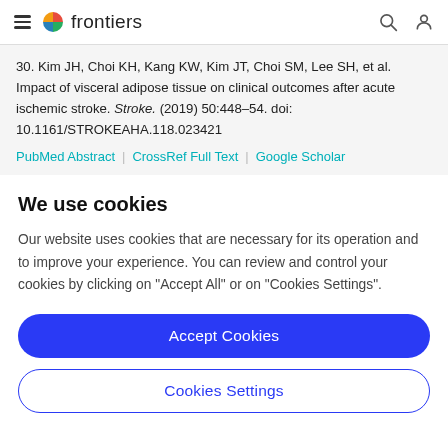frontiers
30. Kim JH, Choi KH, Kang KW, Kim JT, Choi SM, Lee SH, et al. Impact of visceral adipose tissue on clinical outcomes after acute ischemic stroke. Stroke. (2019) 50:448–54. doi: 10.1161/STROKEAHA.118.023421
PubMed Abstract | CrossRef Full Text | Google Scholar
We use cookies
Our website uses cookies that are necessary for its operation and to improve your experience. You can review and control your cookies by clicking on "Accept All" or on "Cookies Settings".
Accept Cookies
Cookies Settings